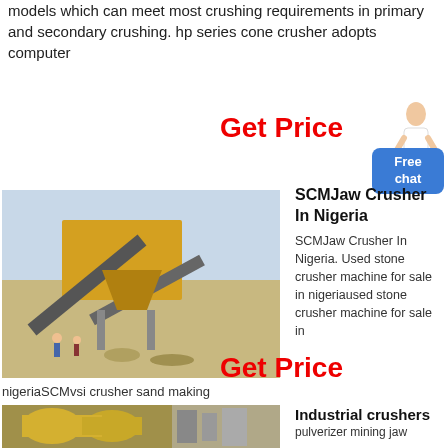models which can meet most crushing requirements in primary and secondary crushing. hp series cone crusher adopts computer
Get Price
[Figure (photo): Industrial jaw crusher / stone crushing equipment at a quarry site, yellow machinery with conveyor belts, workers visible in foreground.]
SCMJaw Crusher In Nigeria
SCMJaw Crusher In Nigeria. Used stone crusher machine for sale in nigeriaused stone crusher machine for sale in
nigeriaSCMvsi crusher sand making
Get Price
[Figure (photo): Industrial crushers facility interior showing large cylindrical yellow equipment/pipes.]
Industrial crushers
pulverizer mining jaw